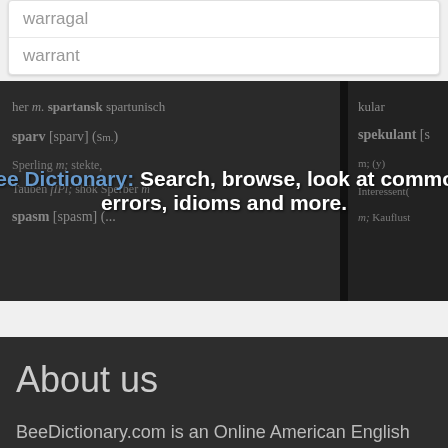warragal
warrant
[Figure (screenshot): Dictionary page image with text overlay: 'Bee Dictionary: Search, browse, look at common errors, idioms and more.']
About us
BeeDictionary.com is an Online American English Dictionary with intuitive browsing interface. The dictionary has very useful other features like, full definition, audio, IPA and spelled phonetics...
Read more